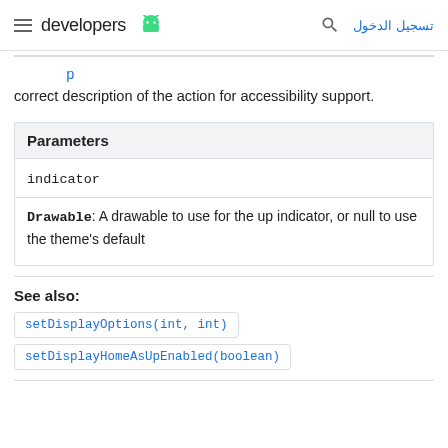developers [android logo] تسجيل الدخول
correct description of the action for accessibility support.
| Parameters |
| --- |
| indicator |
| Drawable: A drawable to use for the up indicator, or null to use the theme's default |
See also:
setDisplayOptions(int, int)
setDisplayHomeAsUpEnabled(boolean)